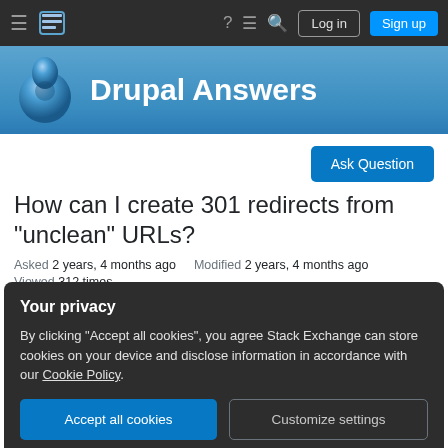Drupal Answers — navbar with Log in and Sign up buttons
Drupal Answers
Ask Question
How can I create 301 redirects from "unclean" URLs?
Asked 2 years, 4 months ago   Modified 2 years, 4 months ago
Viewed 312 times
Your privacy
By clicking "Accept all cookies", you agree Stack Exchange can store cookies on your device and disclose information in accordance with our Cookie Policy.
Accept all cookies
Customize settings